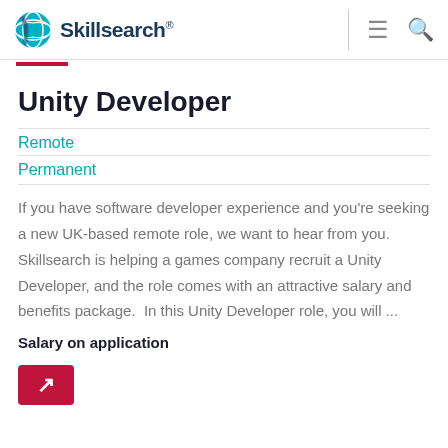Skillsearch®
Unity Developer
Remote
Permanent
If you have software developer experience and you're seeking a new UK-based remote role, we want to hear from you. Skillsearch is helping a games company recruit a Unity Developer, and the role comes with an attractive salary and benefits package.  In this Unity Developer role, you will ...
Salary on application